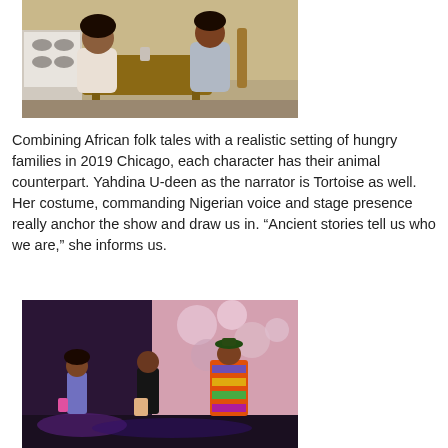[Figure (photo): Two people sitting at a kitchen table facing each other, a woman on the left in a light jacket and a man on the right in a grey sweatshirt, with a stove visible in the background.]
Combining African folk tales with a realistic setting of hungry families in 2019 Chicago, each character has their animal counterpart. Yahdina U-deen as the narrator is Tortoise as well. Her costume, commanding Nigerian voice and stage presence really anchor the show and draw us in. “Ancient stories tell us who we are,” she informs us.
[Figure (photo): Three performers on a stage — a young woman on the left in casual clothes, a man in the center in dark clothes, and a colorfully dressed woman on the right in a vibrant African-print outfit, with decorative floral backdrop visible.]